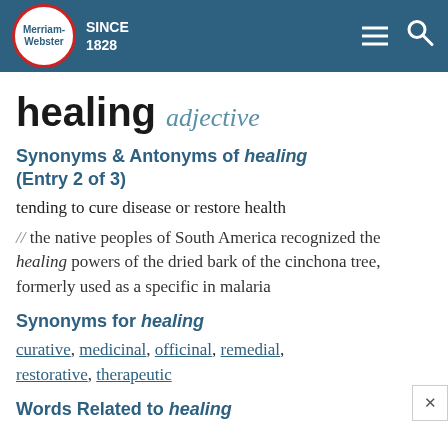Merriam-Webster SINCE 1828
healing adjective
Synonyms & Antonyms of healing (Entry 2 of 3)
tending to cure disease or restore health
// the native peoples of South America recognized the healing powers of the dried bark of the cinchona tree, formerly used as a specific in malaria
Synonyms for healing
curative, medicinal, officinal, remedial, restorative, therapeutic
Words Related to healing